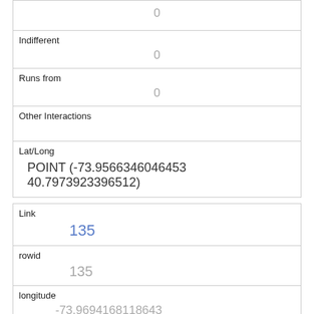|  | 0 |
| Indifferent | 0 |
| Runs from | 0 |
| Other Interactions |  |
| Lat/Long | POINT (-73.9566346046453 40.7973923396512) |
| Link | 135 |
| rowid | 135 |
| longitude | -73.9694168118643 |
| latitude | 40.7728877377977 |
| Unique Squirrel ID | 11G-PM-1013-01 |
| Hectare |  |